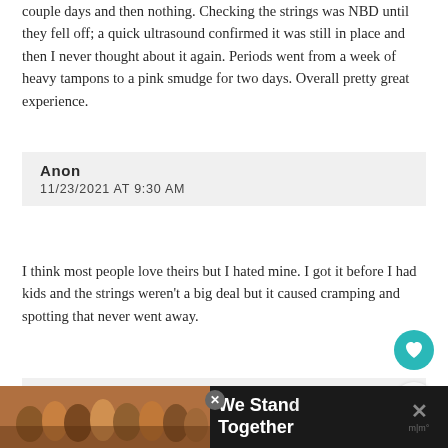couple days and then nothing. Checking the strings was NBD until they fell off; a quick ultrasound confirmed it was still in place and then I never thought about it again. Periods went from a week of heavy tampons to a pink smudge for two days. Overall pretty great experience.
Anon
11/23/2021 AT 9:30 AM
I think most people love theirs but I hated mine. I got it before I had kids and the strings weren't a big deal but it caused cramping and spotting that never went away.
Anonymous
11/23/2021 AT 9:35 AM
Mirena is great for stopping bleeding, but what most doctors will not admit is that it can cause weight...
[Figure (photo): Advertisement banner at bottom of page showing group of people with arm around each other, text reads 'We Stand Together']